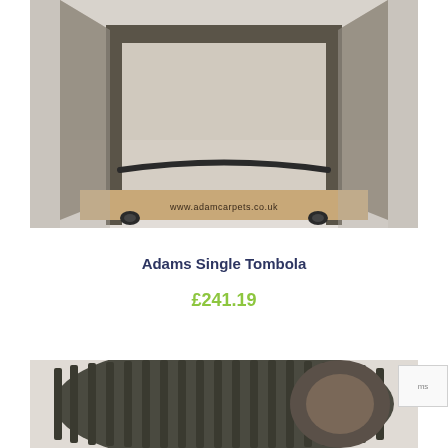[Figure (photo): Photo of Adams Single Tombola product - a wire/glass frame display stand with wooden base showing www.adamscarpets.co.uk, viewed from front/below angle]
Adams Single Tombola
£241.19
[Figure (photo): Partial photo of a cylindrical drum/barrel product with ribbed dark surface, partially visible at bottom of page]